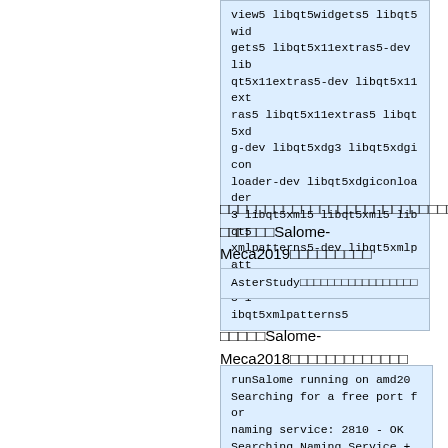view5 libqt5widgets5 libqt5widgets5 libqt5x11extras5-dev libqt5x11extras5-dev libqt5x11extras5 libqt5xdg-dev libqt5xdg3 libqt5xdgiconloader-dev libqt5xdgiconloader3 libqt5xml5 libqt5xml5 libqt5xmlpatterns5-dev libqt5xmlpatterns5-dev libqt5xmlpatterns5 libqt5xmlpatterns5
上記のパッケージをインストールしてからSalome-Meca2019をインストールします
AsterStudyのモジュールのインストールについて
次にSalome-Meca2018のエラーを解消します
runSalome running on amd20
Searching for a free port for naming service: 2810 - OK
Searching Naming Service + found in 0.1 seconds
Searching /Kernel/Session in Naming Service ++++++++++SALOME_Session_Server: /home/kouzou/salome_meca/V2018.0.1_publi